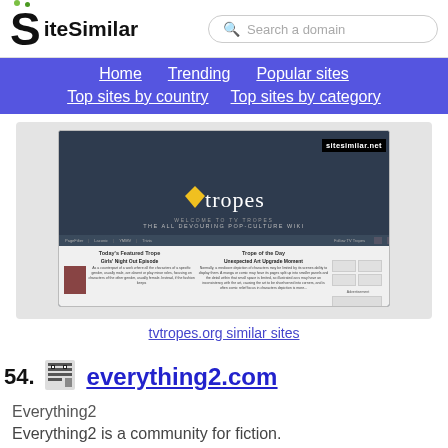SiteSimilar — Search a domain
Home  Trending  Popular sites  Top sites by country  Top sites by category
[Figure (screenshot): Screenshot of tvtropes.org website showing the TV Tropes logo with tagline 'The All Devouring Pop-Culture Wiki' and article previews including 'Girls Night Out Episode' and 'Unexpected Art Upgrade Moment']
tvtropes.org similar sites
54.
everything2.com
Everything2
Everything2 is a community for fiction.